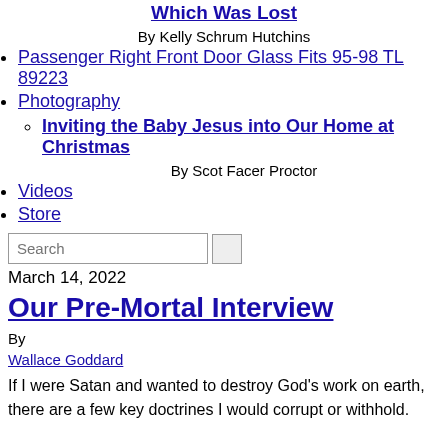Which Was Lost
By Kelly Schrum Hutchins
Passenger Right Front Door Glass Fits 95-98 TL 89223
Photography
Inviting the Baby Jesus into Our Home at Christmas
By Scot Facer Proctor
Videos
Store
March 14, 2022
Our Pre-Mortal Interview
By
Wallace Goddard
If I were Satan and wanted to destroy God’s work on earth, there are a few key doctrines I would corrupt or withhold.